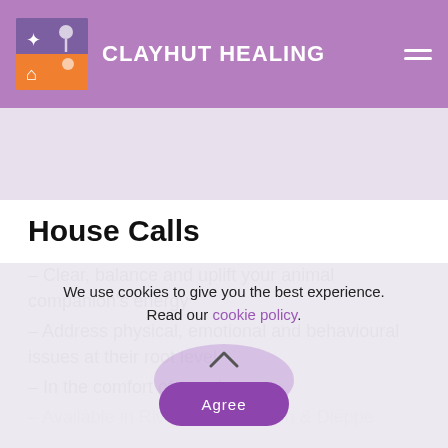CLAYHUT HEALING
[Figure (photo): Banner image area with light purple/lavender background, partially visible decorative elements]
House Calls
– Clear, balance and uplift your animal companion's energy
– Address physical, emotional and behavioural issues at their root level
– In the comfort of your home
– Available in Riverview, Moncton & Dieppe
We use cookies to give you the best experience. Read our cookie policy.